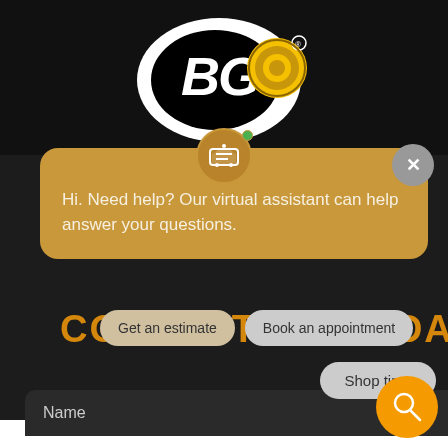[Figure (logo): BG brand logo - white oval with BG text and yellow gear icon, on dark background]
[Figure (screenshot): Chat widget with car icon, green online dot, close X button, golden/amber background, message: Hi. Need help? Our virtual assistant can help answer your questions.]
Hi. Need help? Our virtual assistant can help answer your questions.
CONTACT US TODAY
Get an estimate
Book an appointment
Shop tires
Name